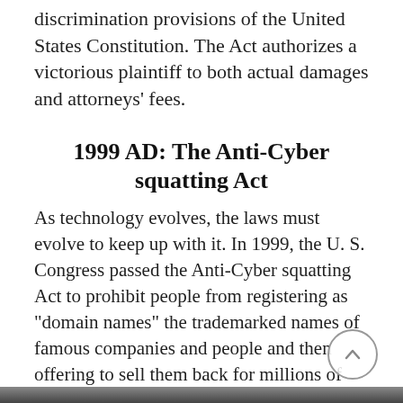discrimination provisions of the United States Constitution. The Act authorizes a victorious plaintiff to both actual damages and attorneys' fees.
1999 AD: The Anti-Cyber squatting Act
As technology evolves, the laws must evolve to keep up with it. In 1999, the U. S. Congress passed the Anti-Cyber squatting Act to prohibit people from registering as "domain names" the trademarked names of famous companies and people and then offering to sell them back for millions of dollars.